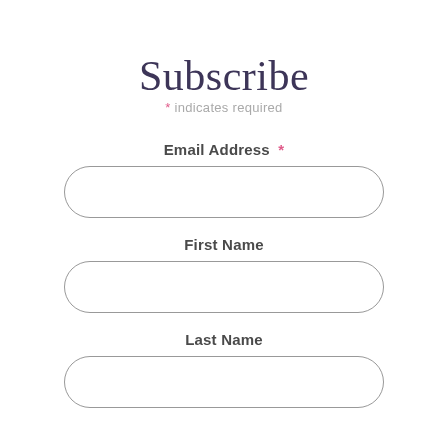Subscribe
* indicates required
Email Address *
First Name
Last Name